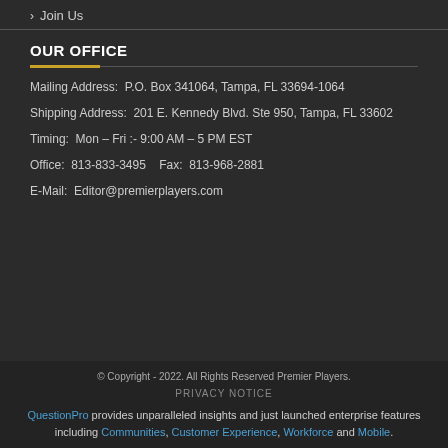› Join Us
OUR OFFICE
Mailing Address:  P.O. Box 341064, Tampa, FL 33694-1064
Shipping Address:  201 E. Kennedy Blvd. Ste 950, Tampa, FL 33602
Timing:  Mon – Fri :- 9:00 AM – 5 PM EST
Office:  813-833-3495    Fax:  813-968-2881
E-Mail:  Editor@premierplayers.com
© Copyright - 2022. All Rights Reserved Premier Players.
PRIVACY NOTICE
QuestionPro provides unparalleled insights and just launched enterprise features including Communities, Customer Experience, Workforce and Mobile.